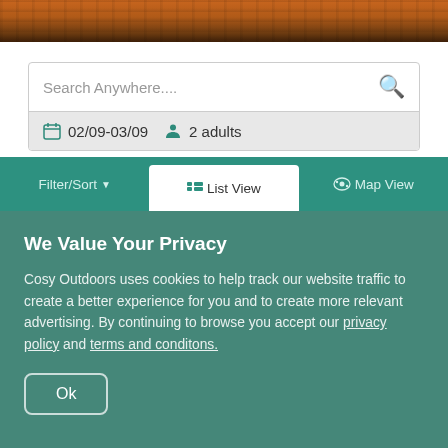[Figure (photo): Top strip showing outdoor/nature scene with warm brown/orange tones, partially visible wooden structures or fencing]
Search Anywhere....
02/09-03/09   2 adults
Filter/Sort   List View   Map View
We Value Your Privacy
Cosy Outdoors uses cookies to help track our website traffic to create a better experience for you and to create more relevant advertising. By continuing to browse you accept our privacy policy and terms and conditons.
Ok